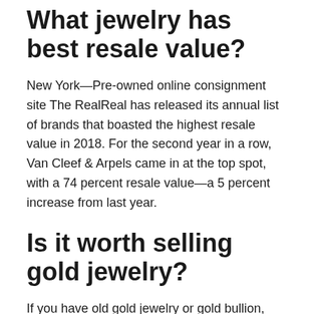What jewelry has best resale value?
New York—Pre-owned online consignment site The RealReal has released its annual list of brands that boasted the highest resale value in 2018. For the second year in a row, Van Cleef & Arpels came in at the top spot, with a 74 percent resale value—a 5 percent increase from last year.
Is it worth selling gold jewelry?
If you have old gold jewelry or gold bullion, selling it can be a great way to get cash immediately while taking advantage of today's high gold prices. — The best way to